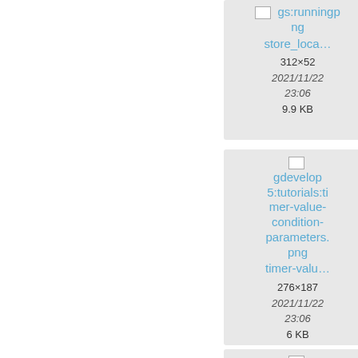[Figure (screenshot): File browser card: gs:runningpng store_loca... 312x52 2021/11/22 23:06 9.9 KB]
[Figure (screenshot): File browser card (partially visible): thumb... 2407... 2021/... 23... 1.4...]
[Figure (screenshot): File browser card: gdevelop5:tutorials:timer-value-condition-parameters.png timer-valu... 276x187 2021/11/22 23:06 6 KB]
[Figure (screenshot): File browser card (partially visible): gd 5:tute mer- condi timer-... 516... 2021/... 23... 4.3...]
[Figure (screenshot): File browser card (partially visible): gdevelop5:tutorials:toggles10.pp...]
[Figure (screenshot): File browser card (partially visible): gd 5:tut... egg...]